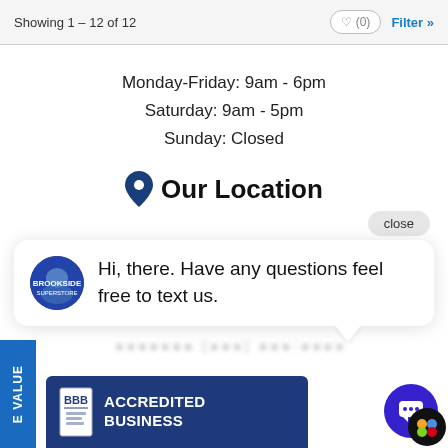Showing 1 – 12 of 12
Monday-Friday: 9am - 6pm
Saturday: 9am - 5pm
Sunday: Closed
Our Location
close
Hi, there. Have any questions feel free to text us.
[Figure (infographic): BBB Accredited Business badge with blue background]
[Figure (infographic): Chat widget button bottom right corner]